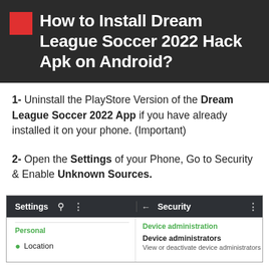How to Install Dream League Soccer 2022 Hack Apk on Android?
1- Uninstall the PlayStore Version of the Dream League Soccer 2022 App if you have already installed it on your phone. (Important)
2- Open the Settings of your Phone, Go to Security & Enable Unknown Sources.
[Figure (screenshot): Android phone screenshot showing split view of Settings screen (left: Personal, Location) and Security screen (right: Device administration, Device administrators - View or deactivate device administrators)]